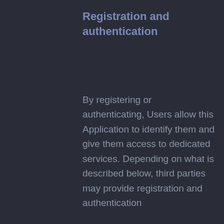Registration and authentication
By registering or authenticating, Users allow this Application to identify them and give them access to dedicated services. Depending on what is described below, third parties may provide registration and authentication